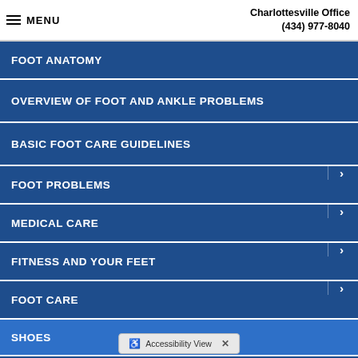MENU | Charlottesville Office (434) 977-8040
FOOT ANATOMY
OVERVIEW OF FOOT AND ANKLE PROBLEMS
BASIC FOOT CARE GUIDELINES
FOOT PROBLEMS >
MEDICAL CARE >
FITNESS AND YOUR FEET >
FOOT CARE >
SHOES
LINKS
Accessibility View X